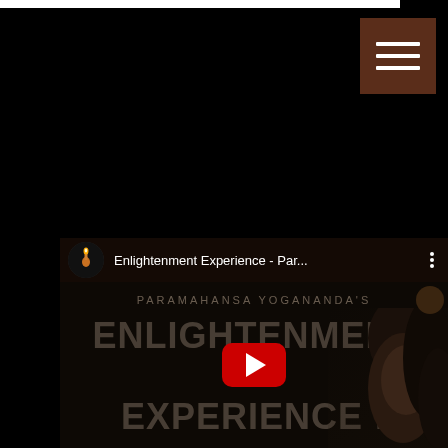[Figure (screenshot): Website screenshot with black background, brown hamburger menu button in top right, and YouTube video thumbnail at bottom showing 'Enlightenment Experience - Par...' with a candle icon, red play button, and text reading 'PARAMAHANSA YOGANANDA'S ENLIGHTENMENT EXPERIENCE!' overlaid on a dark background with a person's face on the right side.]